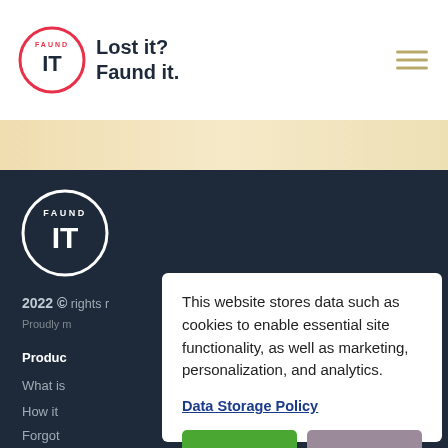Lost it? Faund it.
[Figure (logo): Faund IT logo - circular with FAUND text around top and IT in center, red circle]
[Figure (illustration): Beige/cream banner strip below header]
[Figure (logo): Faund IT logo white version on dark background in footer]
2022 © rights r... Proudly m...
Products
What is...
How it...
Forgot...
Partners
This website stores data such as cookies to enable essential site functionality, as well as marketing, personalization, and analytics.
Data Storage Policy
Accept
Deny